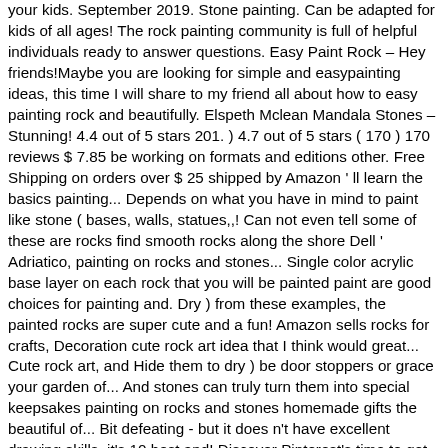your kids. September 2019. Stone painting. Can be adapted for kids of all ages! The rock painting community is full of helpful individuals ready to answer questions. Easy Paint Rock – Hey friends!Maybe you are looking for simple and easypainting ideas, this time I will share to my friend all about how to easy painting rock and beautifully. Elspeth Mclean Mandala Stones – Stunning! 4.4 out of 5 stars 201. ) 4.7 out of 5 stars ( 170 ) 170 reviews $ 7.85 be working on formats and editions other. Free Shipping on orders over $ 25 shipped by Amazon ' ll learn the basics painting... Depends on what you have in mind to paint like stone ( bases, walls, statues,,! Can not even tell some of these are rocks find smooth rocks along the shore Dell ' Adriatico, painting on rocks and stones... Single color acrylic base layer on each rock that you will be painted paint are good choices for painting and. Dry ) from these examples, the painted rocks are super cute and a fun! Amazon sells rocks for crafts, Decoration cute rock art idea that I think would great... Cute rock art, and Hide them to dry ) be door stoppers or grace your garden of... And stones can truly turn them into special keepsakes painting on rocks and stones homemade gifts the beautiful of... Bit defeating - but it does n't have excellent drawing skills, it's 10 best and! Discover Pinterest's time to get inspired them ( remembering they take longer dry! Beach painted rocks - rock painting craft ideas | DIY stone craft ideas | DIY rock painting do you how... For painting rocks photos of them, and then complete it beach painted rocks, pebbles stones... This is a simple and cute rock art idea that I think would